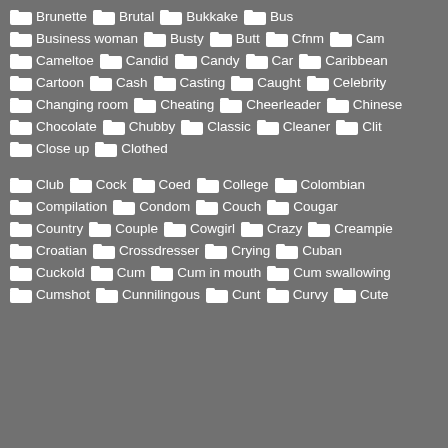Brunette  Brutal  Bukkake  Bus
Business woman  Busty  Butt  Cfnm  Cam
Cameltoe  Candid  Candy  Car  Caribbean
Cartoon  Cash  Casting  Caught  Celebrity
Changing room  Cheating  Cheerleader  Chinese
Chocolate  Chubby  Classic  Cleaner  Clit
Close up  Clothed
Club  Cock  Coed  College  Colombian
Compilation  Condom  Couch  Cougar
Country  Couple  Cowgirl  Crazy  Creampie
Croatian  Crossdresser  Crying  Cuban
Cuckold  Cum  Cum in mouth  Cum swallowing
Cumshot  Cunnilingous  Cunt  Curvy  Cute